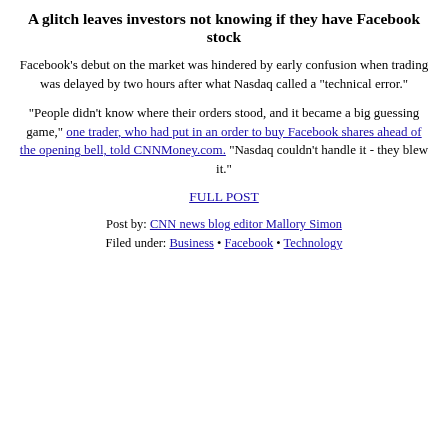A glitch leaves investors not knowing if they have Facebook stock
Facebook's debut on the market was hindered by early confusion when trading was delayed by two hours after what Nasdaq called a "technical error."
"People didn't know where their orders stood, and it became a big guessing game," one trader, who had put in an order to buy Facebook shares ahead of the opening bell, told CNNMoney.com. "Nasdaq couldn't handle it - they blew it."
FULL POST
Post by: CNN news blog editor Mallory Simon
Filed under: Business • Facebook • Technology